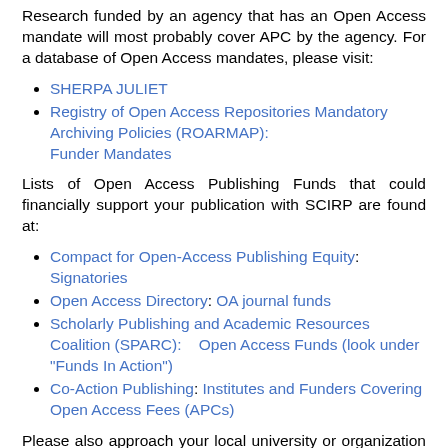Research funded by an agency that has an Open Access mandate will most probably cover APC by the agency. For a database of Open Access mandates, please visit:
SHERPA JULIET
Registry of Open Access Repositories Mandatory Archiving Policies (ROARMAP): Funder Mandates
Lists of Open Access Publishing Funds that could financially support your publication with SCIRP are found at:
Compact for Open-Access Publishing Equity: Signatories
Open Access Directory: OA journal funds
Scholarly Publishing and Academic Resources Coalition (SPARC):    Open Access Funds (look under "Funds In Action")
Co-Action Publishing: Institutes and Funders Covering Open Access Fees (APCs)
Please also approach your local university or organization to inquire about ways of supporting